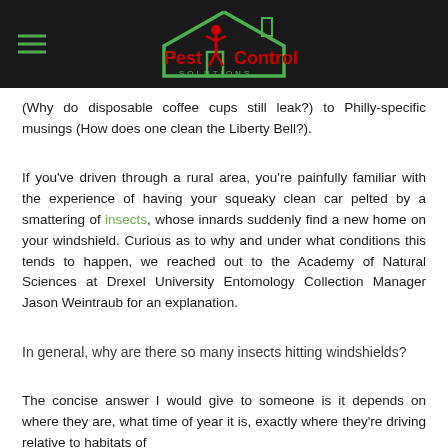Pest Control Solutions
(Why do disposable coffee cups still leak?) to Philly-specific musings (How does one clean the Liberty Bell?).
If you've driven through a rural area, you're painfully familiar with the experience of having your squeaky clean car pelted by a smattering of insects, whose innards suddenly find a new home on your windshield. Curious as to why and under what conditions this tends to happen, we reached out to the Academy of Natural Sciences at Drexel University Entomology Collection Manager Jason Weintraub for an explanation.
In general, why are there so many insects hitting windshields?
The concise answer I would give to someone is it depends on where they are, what time of year it is, exactly where they're driving relative to habitats of